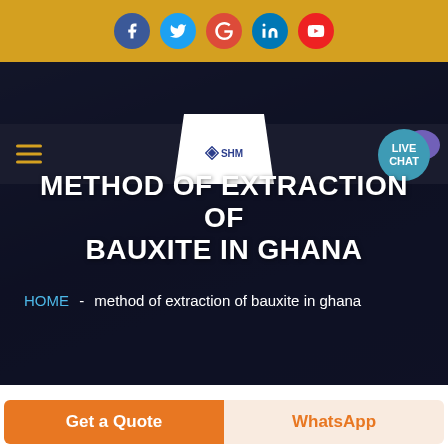Social media icons: Facebook, Twitter, Google+, LinkedIn, YouTube
[Figure (screenshot): Navigation bar with hamburger menu, SHM logo in white trapezoidal shape, and LIVE CHAT button with purple speech bubble]
METHOD OF EXTRACTION OF BAUXITE IN GHANA
HOME - method of extraction of bauxite in ghana
[Figure (photo): Partial view of industrial/mining equipment image]
Get a Quote
WhatsApp